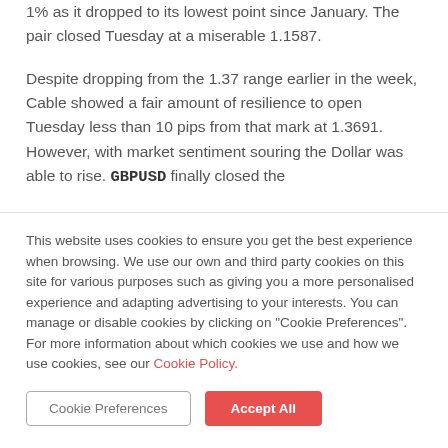1% as it dropped to its lowest point since January. The pair closed Tuesday at a miserable 1.1587.
Despite dropping from the 1.37 range earlier in the week, Cable showed a fair amount of resilience to open Tuesday less than 10 pips from that mark at 1.3691. However, with market sentiment souring the Dollar was able to rise. GBPUSD finally closed the [text continues below]
This website uses cookies to ensure you get the best experience when browsing. We use our own and third party cookies on this site for various purposes such as giving you a more personalised experience and adapting advertising to your interests. You can manage or disable cookies by clicking on "Cookie Preferences". For more information about which cookies we use and how we use cookies, see our Cookie Policy.